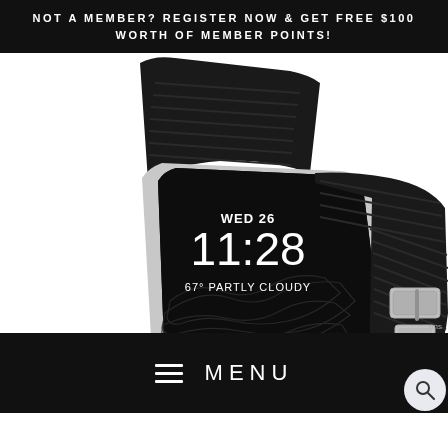NOT A MEMBER? REGISTER NOW & GET FREE $100 WORTH OF MEMBER POINTS!
[Figure (photo): Apple Watch with black rubber/silicone sport band shown at an angle. Watch face displays WED 26, 11:28, 67° PARTLY CLOUDY with topographic map design. Silver aluminum case with black band featuring silver buckle hardware.]
≡  MENU